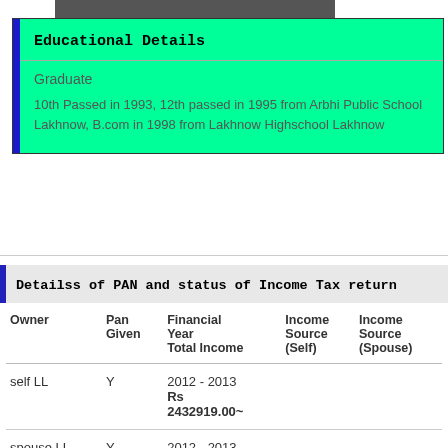Educational Details
Graduate
10th Passed in 1993, 12th passed in 1995 from Arbhi Public School Lakhnow, B.com in 1998 from Lakhnow Highschool Lakhnow
Detailss of PAN and status of Income Tax return
| Owner | Pan Given | Financial Year Total Income | Income Source (Self) | Income Source (Spouse) |
| --- | --- | --- | --- | --- |
| self LL | Y | 2012 - 2013
Rs 2432919.00~ |  |  |
| spouse LL | Y | 2012 - 2013
Rs 3710146.00~ |  |  |